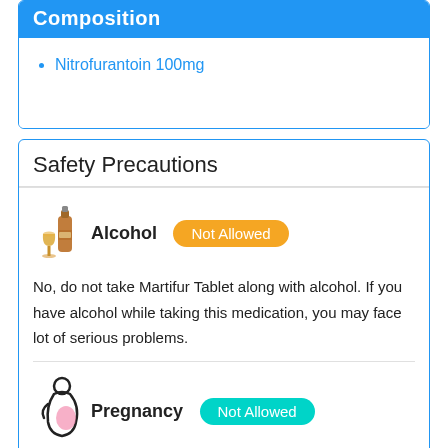Composition
Nitrofurantoin 100mg
Safety Precautions
[Figure (illustration): Alcohol bottle and wine glass icon]
Alcohol  Not Allowed
No, do not take Martifur Tablet along with alcohol. If you have alcohol while taking this medication, you may face lot of serious problems.
[Figure (illustration): Pregnant woman silhouette icon]
Pregnancy  Not Allowed
No, do not take Martifur Tablet if you are pregnant. You should consult with your doctor before coming to some